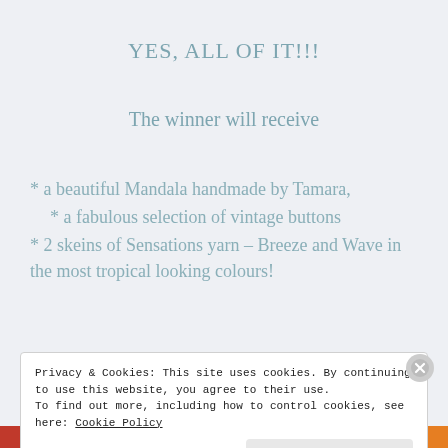YES, ALL OF IT!!!
The winner will receive
* a beautiful Mandala handmade by Tamara,
* a fabulous selection of vintage buttons
* 2 skeins of Sensations yarn – Breeze and Wave in the most tropical looking colours!
Privacy & Cookies: This site uses cookies. By continuing to use this website, you agree to their use.
To find out more, including how to control cookies, see here: Cookie Policy
Close and accept